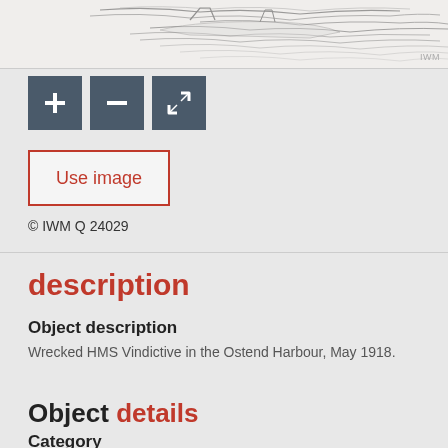[Figure (photo): Partial view of a black and white photograph showing water/sea scene (Wrecked HMS Vindictive in Ostend Harbour), with IWM watermark in bottom right corner]
[Figure (other): Three dark grey square icon buttons: plus (+), minus (−), and expand/fullscreen icon]
Use image
© IWM Q 24029
description
Object description
Wrecked HMS Vindictive in the Ostend Harbour, May 1918.
Object details
Category